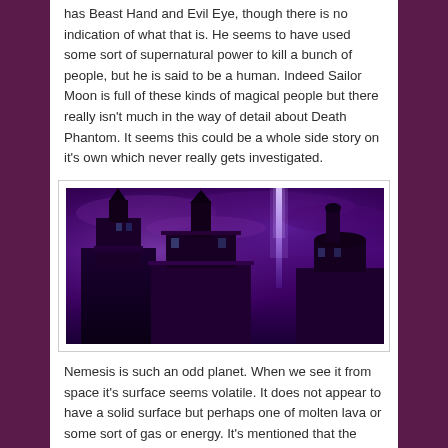has Beast Hand and Evil Eye, though there is no indication of what that is. He seems to have used some sort of supernatural power to kill a bunch of people, but he is said to be a human. Indeed Sailor Moon is full of these kinds of magical people but there really isn't much in the way of detail about Death Phantom. It seems this could be a whole side story on it's own which never really gets investigated.
[Figure (illustration): Dark fantasy illustration of gothic/art-deco buildings with towers and spires against a deep purple stormy sky, with a bright purple/white beam of light shooting upward from one of the towers.]
Nemesis is such an odd planet. When we see it from space it's surface seems volatile. It does not appear to have a solid surface but perhaps one of molten lava or some sort of gas or energy. It's mentioned that the reactor